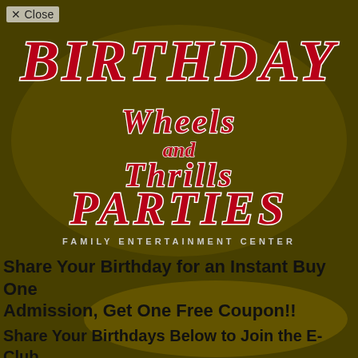× Close
[Figure (logo): Birthday Parties Wheels and Thrills Family Entertainment Center logo with red script lettering on yellow/gold background]
Share Your Birthday for an Instant Buy One Admission, Get One Free Coupon!!
Share Your Birthdays Below to Join the E-Club
Share with Us
[Figure (photo): Children at a birthday party with balloons and birthday gifts, dark overlay on yellow background]